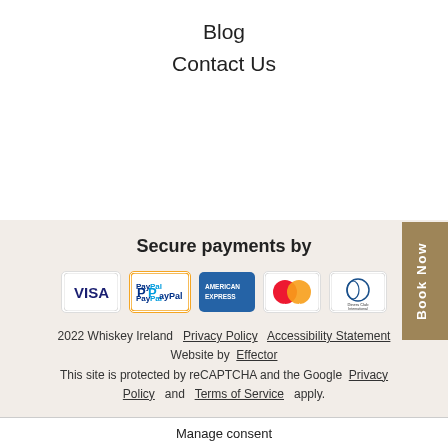Blog
Contact Us
Secure payments by
[Figure (logo): Payment method logos: VISA, PayPal, American Express, MasterCard, Diners Club International]
2022 Whiskey Ireland  Privacy Policy  Accessibility Statement  Website by  Effector  This site is protected by reCAPTCHA and the Google  Privacy Policy  and  Terms of Service  apply.
Manage consent